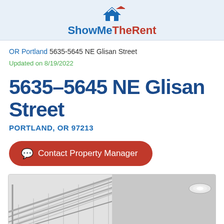ShowMeTheRent
OR Portland 5635-5645 NE Glisan Street
Updated on 8/19/2022
5635-5645 NE Glisan Street
PORTLAND, OR 97213
Contact Property Manager
[Figure (photo): Two interior photos side by side: left shows wire closet shelving at an angle, right shows a plain ceiling with a recessed light fixture]